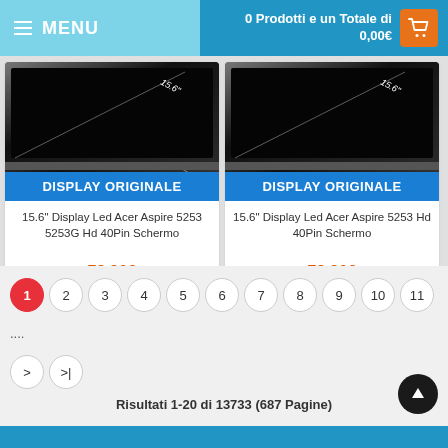MENU | 0 Prodotti e un Totale di 0,00€
[Figure (screenshot): Product image of 15.6 inch laptop display screen on dark background]
DISPLAY ORIGINALE
15.6" Display Led Acer Aspire 5253 5253G Hd 40Pin Schermo
78,90€
ACQUISTA
[Figure (screenshot): Product image of 15.6 inch laptop display screen on dark background]
DISPLAY ORIGINALE
15.6" Display Led Acer Aspire 5253 Hd 40Pin Schermo
78,90€
ACQUISTA
1 2 3 4 5 6 7 8 9 10 11 .... > >|
Risultati 1-20 di 13733 (687 Pagine)